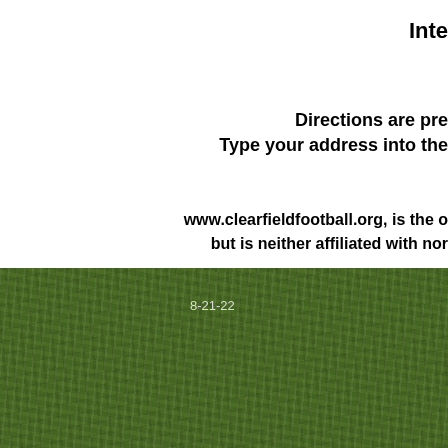Inte
Directions are pre
Type your address into the
www.clearfieldfootball.org, is the o but is neither affiliated with nor
[Figure (photo): Green grass field texture background, bottom half of page]
8-21-22